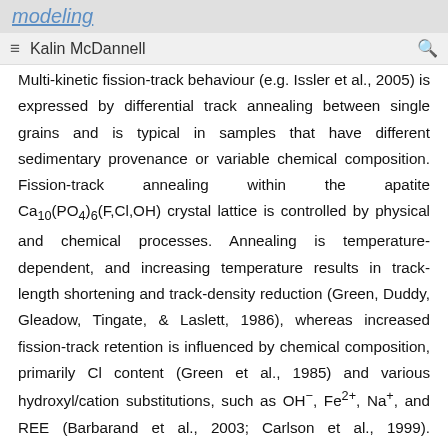modeling
≡  Kalin McDannell  🔍
Multi-kinetic fission-track behaviour (e.g. Issler et al., 2005) is expressed by differential track annealing between single grains and is typical in samples that have different sedimentary provenance or variable chemical composition. Fission-track annealing within the apatite Ca₁₀(PO₄)₆(F,Cl,OH) crystal lattice is controlled by physical and chemical processes. Annealing is temperature- dependent, and increasing temperature results in track-length shortening and track-density reduction (Green, Duddy, Gleadow, Tingate, & Laslett, 1986), whereas increased fission-track retention is influenced by chemical composition, primarily Cl content (Green et al., 1985) and various hydroxyl/cation substitutions, such as OH⁻, Fe²⁺, Na⁺, and REE (Barbarand et al., 2003; Carlson et al., 1999). Collectively these